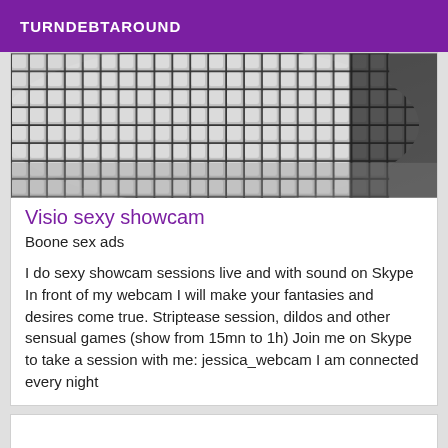TURNDEBTAROUND
[Figure (photo): Close-up photo of black fishnet stockings/fabric on a leg against a grey background]
Visio sexy showcam
Boone sex ads
I do sexy showcam sessions live and with sound on Skype In front of my webcam I will make your fantasies and desires come true. Striptease session, dildos and other sensual games (show from 15mn to 1h) Join me on Skype to take a session with me: jessica_webcam I am connected every night